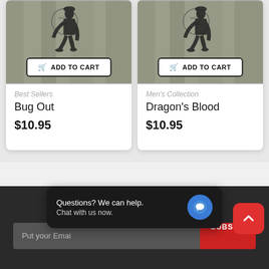[Figure (screenshot): Product card for 'Bug Out' item showing soldier silhouette on camouflage background with Add to Cart button, category 'Best Sellers', price $10.95]
[Figure (screenshot): Product card for 'Dragon's Blood' item showing soldier silhouette on camouflage background with Add to Cart button, category 'Men's Collection', price $10.95]
SIGN UP FOR NEWSLETTER
Put your Email
SUBSCRIBE
Questions? We can help. Chat with us now.